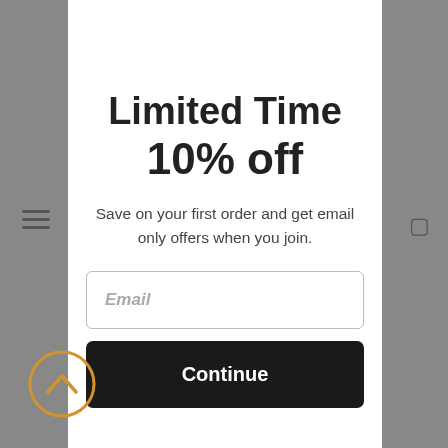Limited Time
10% off
Save on your first order and get email only offers when you join.
[Figure (screenshot): Email input field with placeholder text 'Email']
[Figure (screenshot): Dark Continue button]
[Figure (other): Scroll-up circular arrow button in orange/gold color at bottom left]